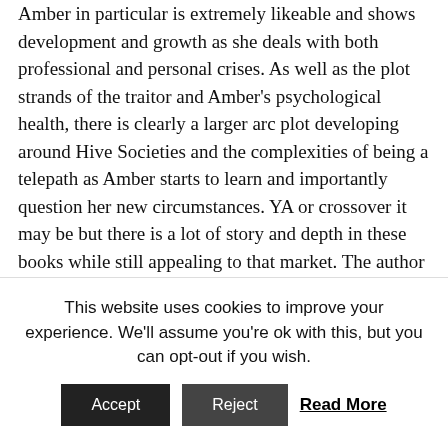Amber in particular is extremely likeable and shows development and growth as she deals with both professional and personal crises. As well as the plot strands of the traitor and Amber's psychological health, there is clearly a larger arc plot developing around Hive Societies and the complexities of being a telepath as Amber starts to learn and importantly question her new circumstances. YA or crossover it may be but there is a lot of story and depth in these books while still appealing to that market. The author is not afraid to move to different characters and settings than her previous series and the world of the Hives is interesting and very different from that of the Earth Girl series. The style and SF settings remind me very much of Anne McCaffrey's
This website uses cookies to improve your experience. We'll assume you're ok with this, but you can opt-out if you wish.
Accept
Reject
Read More